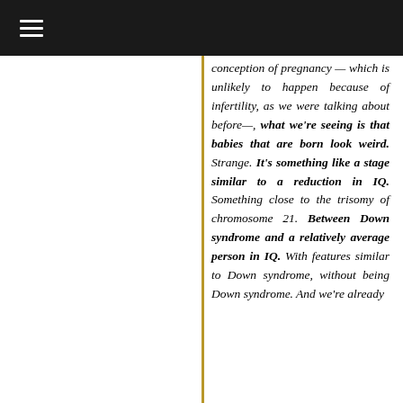≡
conception of pregnancy — which is unlikely to happen because of infertility, as we were talking about before—, what we're seeing is that babies that are born look weird. Strange. It's something like a stage similar to a reduction in IQ. Something close to the trisomy of chromosome 21. Between Down syndrome and a relatively average person in IQ. With features similar to Down syndrome, without being Down syndrome. And we're already